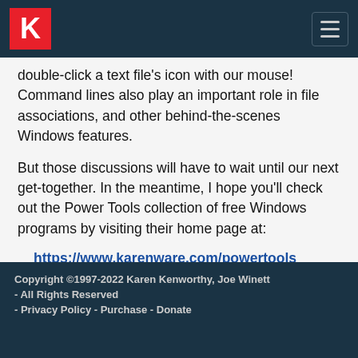K [logo] [hamburger menu]
double-click a text file's icon with our mouse! Command lines also play an important role in file associations, and other behind-the-scenes Windows features.
But those discussions will have to wait until our next get-together. In the meantime, I hope you'll check out the Power Tools collection of free Windows programs by visiting their home page at:
https://www.karenware.com/powertools
The programs are free (for personal use). Programmer-types can download the programs' free
Copyright ©1997-2022 Karen Kenworthy, Joe Winett - All Rights Reserved

- Privacy Policy - Purchase - Donate